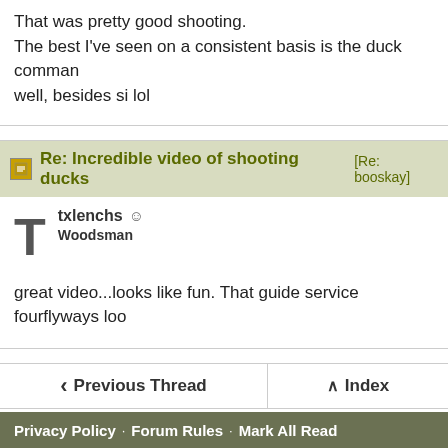That was pretty good shooting.
The best I've seen on a consistent basis is the duck command well, besides si lol
Re: Incredible video of shooting ducks [Re: booskay]
txlenchs ☺
Woodsman
great video...looks like fun. That guide service fourflyways loo
‹ Previous Thread   ∧ Index
Hop To   Migratory Bird Hunting
Privacy Policy · Forum Rules · Mark All Read